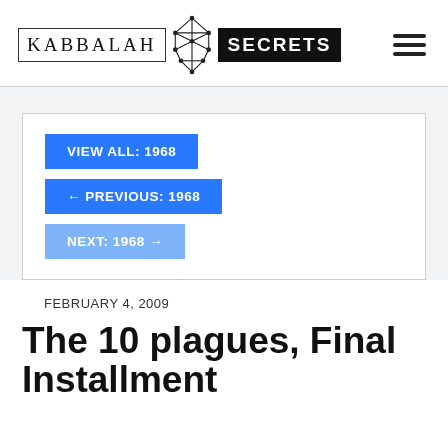[Figure (logo): Kabbalah Secrets logo with geometric star of David symbol between two text blocks]
VIEW ALL: 1968
← PREVIOUS: 1968
NEXT: 1968 →
FEBRUARY 4, 2009
The 10 plagues, Final Installment